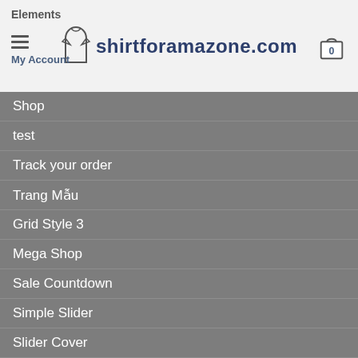Elements | shirtforamazone.com | My Account | Cart 0
Shop
test
Track your order
Trang Mẫu
Grid Style 3
Mega Shop
Sale Countdown
Simple Slider
Slider Cover
Sport Shop